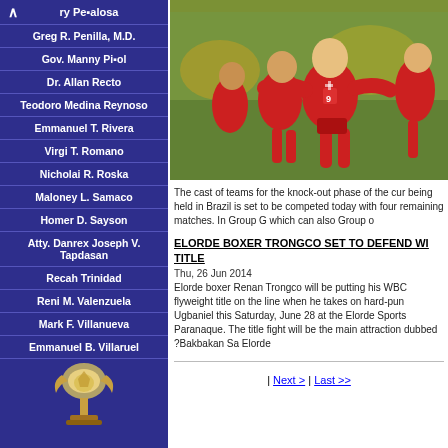ry Pe■alosa
Greg R. Penilla, M.D.
Gov. Manny Pi■ol
Dr. Allan Recto
Teodoro Medina Reynoso
Emmanuel T. Rivera
Virgi T. Romano
Nicholai R. Roska
Maloney L. Samaco
Homer D. Sayson
Atty. Danrex Joseph V. Tapdasan
Recah Trinidad
Reni M. Valenzuela
Mark F. Villanueva
Emmanuel B. Villaruel
[Figure (photo): Soccer players in red uniforms celebrating on field]
The cast of teams for the knock-out phase of the cur being held in Brazil is set to be competed today with four remaining matches. In Group G which can also Group o
ELORDE BOXER TRONGCO SET TO DEFEND WI TITLE
Thu, 26 Jun 2014
Elorde boxer Renan Trongco will be putting his WBC flyweight title on the line when he takes on hard-pun Ugbaniel this Saturday, June 28 at the Elorde Sports Paranaque. The title fight will be the main attraction dubbed ?Bakbakan Sa Elorde
| Next > | Last >>